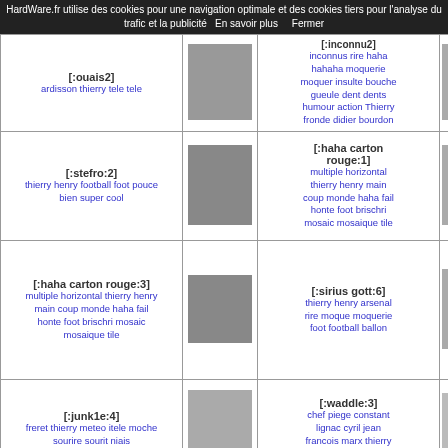HardWare.fr utilise des cookies pour une navigation optimale et des cookies tiers pour l'analyse du trafic et la publicité   En savoir plus     Fermer
| Tag/Keywords | Image | Tag/Keywords | Image |
| --- | --- | --- | --- |
| [:ouais2] ardisson thierry tele tele | [img] | [:inconnu?] inconnus rire haha hahaha moquerie moquer insulte bouche gueule dent dents humour action Thierry fronde didier bourdon | [img] |
| [:stefro:2] thierry henry football foot pouce bien super cool | [img] | [:haha carton rouge:1] multiple horizontal thierry henry main coup monde haha fail honte foot brischri mosaic mosaique tile | [img] |
| [:haha carton rouge:3] multiple horizontal thierry henry main coup monde haha fail honte foot brischri mosaic mosaique tile | [img] | [:sirius gott:6] thierry henry arsenal rire moque moquerie foot football ballon | [img] |
| [:junk1e:4] freret thierry meteo itele moche sourire sourit niais | [img] | [:waddle:3] chef piege constant lignac cyril jean francois marx thierry constant | [img] |
| [:waddle:5] chef piege constant lignac cyril jean francois marx thierry | [img] | [:sublow] thierry beccaro sourire rire animateur personnage tele | [img] |